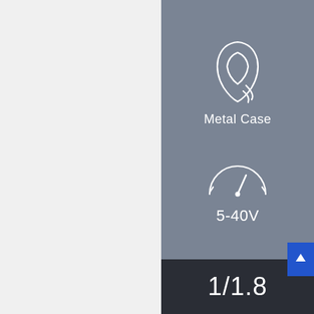[Figure (illustration): Gray background panel with two icons: a metal case/leaf-like icon with label 'Metal Case', and a speedometer/gauge icon with label '5-40V' below it. A blue button with an up arrow appears at the bottom right. A dark panel at the bottom shows '1/1.8' text (partially visible).]